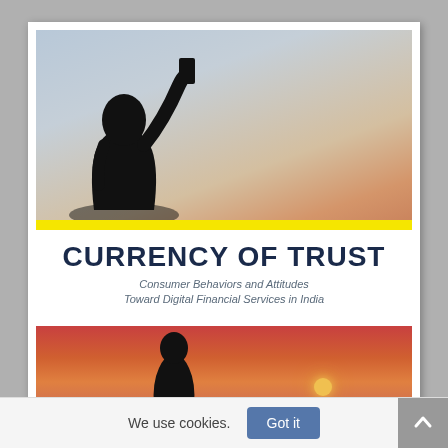[Figure (photo): Silhouette of a person holding up a smartphone against a cloudy sky background with yellow bar at bottom]
CURRENCY OF TRUST
Consumer Behaviors and Attitudes Toward Digital Financial Services in India
[Figure (photo): Silhouette of a person against a sunset/dusk sky with an orange sun on the horizon]
We use cookies.
Got it